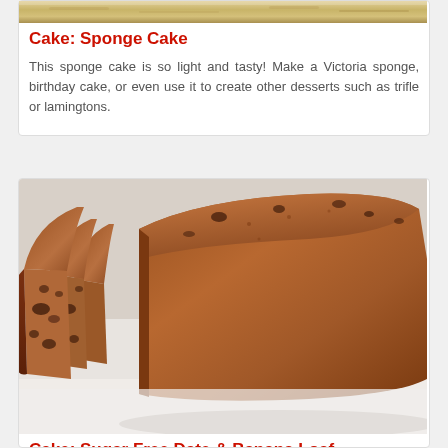[Figure (photo): Top portion of a sponge cake photo, partially cut off at top of page]
Cake: Sponge Cake
This sponge cake is so light and tasty! Make a Victoria sponge, birthday cake, or even use it to create other desserts such as trifle or lamingtons.
[Figure (photo): Photo of a sliced banana date loaf, showing dark moist interior with visible chunks, slices fanned out on a white surface]
Cake: Sugar Free Date & Banana Loaf